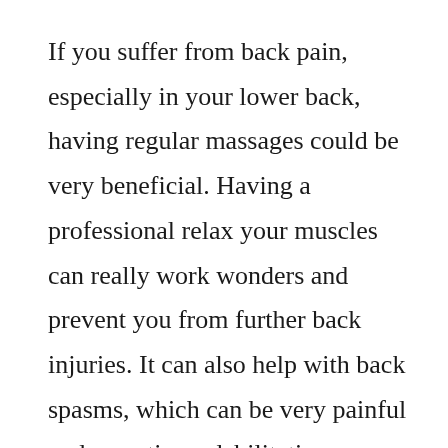If you suffer from back pain, especially in your lower back, having regular massages could be very beneficial. Having a professional relax your muscles can really work wonders and prevent you from further back injuries. It can also help with back spasms, which can be very painful and sometimes debilitating.
Feeling a little blue? Go get a massage! The health benefits of massage are numerous, and